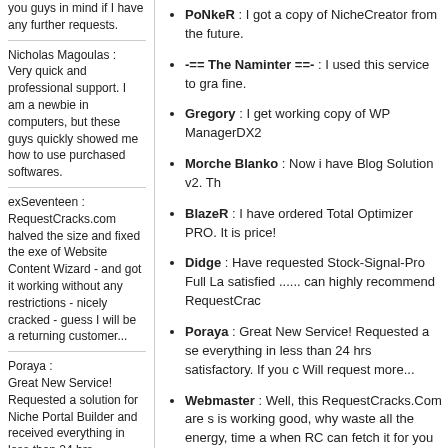you guys in mind if I have any further requests.
Nicholas Magoulas : Very quick and professional support. I am a newbie in computers, but these guys quickly showed me how to use purchased softwares.
exSeventeen : RequestCracks.com halved the size and fixed the exe of Website Content Wizard - and got it working without any restrictions - nicely cracked - guess I will be a returning customer...
Poraya : Great New Service! Requested a solution for Niche Portal Builder and received everything in less than 24 hrs satisfactory. If you can't find your fix anywhere else... get it from RC! Will request more...
BlazeR : I have ordered Total Optimizer PRO. It is amazing! Fully working version for such a little price!
PoNkeR : I got a copy of NicheCreator from the future.
-== The Naminter ==- : I used this service to gra fine.
Gregory : I get working copy of WP ManagerDX2
Morche Blanko : Now i have Blog Solution v2. Th
BlazeR : I have ordered Total Optimizer PRO. It is price!
Didge : Have requested Stock-Signal-Pro Full La satisfied ...... can highly recommend RequestCrac
Poraya : Great New Service! Requested a se everything in less than 24 hrs satisfactory. If you c Will request more...
Webmaster : Well, this RequestCracks.Com are s is working good, why waste all the energy, time a when RC can fetch it for you for nothing heart brea
exSeventeen : RequestCracks.com halved the siz - and got it working without any restrictions - nicel